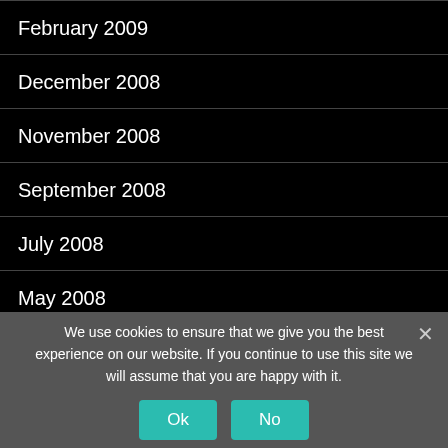February 2009
December 2008
November 2008
September 2008
July 2008
May 2008
April 2008
February 2008
January 2008
We use cookies to ensure that we give you the best experience on our website. If you continue to use this site we will assume that you are happy with it.